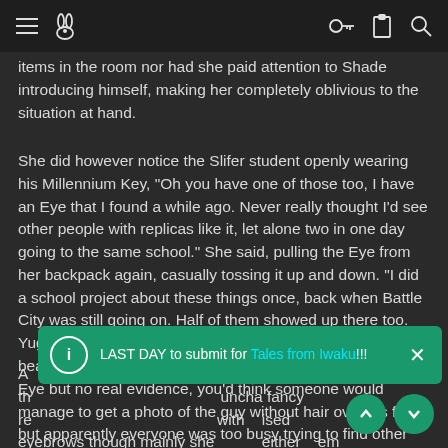[Navigation bar with hamburger menu, rabbit icon, key icon, clipboard icon, search icon]
items in the room nor had she paid attention to Shade introducing himself, making her completely oblivious to the situation at hand.
She did however notice the Slifer student openly wearing his Millennium Key, "Oh you have one of those too, I have an Eye that I found a while ago. Never really thought I'd see other people with replicas like it, let alone two in one day going to the same school." She said, pulling the Eye from her backpack again, casually tossing it up and down. "I did a school project about these things once, back when Battle City was still going on. Half of them showed up there too. Yugi, that crazy Marik guy, Bakura, and that chick Kaiba beat all had one, I found rumors that Pegasus had the real Eye but no real evidence, you'd think someone would manage to get a photo of the guy without hair over his face but apparently everyone was too busy trying to find other celebrities naked or something." She said.
A [partially obscured] ed back against th [partially obscured] uncha fancy re [partially obscured] with [partially obscured] ised eyebrows though mainly she [partially obscured] either [partially obscured] em said a thing about her arm or eye and that alone left her in a rather
LAST DAY to submit for Tales from Iwaku!!!